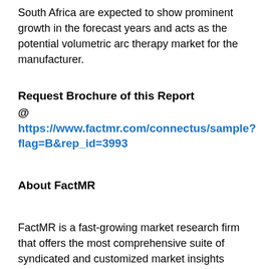South Africa are expected to show prominent growth in the forecast years and acts as the potential volumetric arc therapy market for the manufacturer.
Request Brochure of this Report
@ https://www.factmr.com/connectus/sample?flag=B&rep_id=3993
About FactMR
FactMR is a fast-growing market research firm that offers the most comprehensive suite of syndicated and customized market insights reports. We believe transformative intelligence can educate and inspire businesses to make smarter decisions. We know